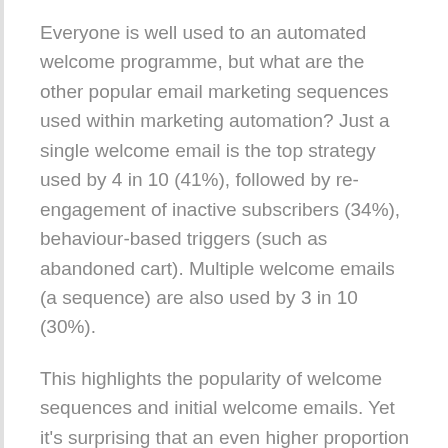Everyone is well used to an automated welcome programme, but what are the other popular email marketing sequences used within marketing automation? Just a single welcome email is the top strategy used by 4 in 10 (41%), followed by re-engagement of inactive subscribers (34%), behaviour-based triggers (such as abandoned cart). Multiple welcome emails (a sequence) are also used by 3 in 10 (30%).
This highlights the popularity of welcome sequences and initial welcome emails. Yet it's surprising that an even higher proportion of businesses aren't using them. Related techniques such as progressive profiling, although gaining popularity, are still only used by just under a quarter (23%). Reactivation and behaviour-based triggers are used by many marketers, too – it's